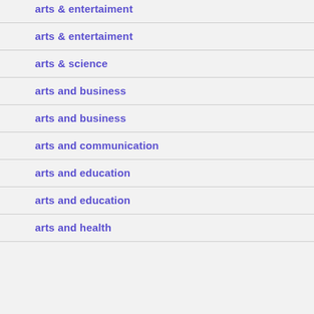arts & entertaiment
arts & entertaiment
arts & science
arts and business
arts and business
arts and communication
arts and education
arts and education
arts and health